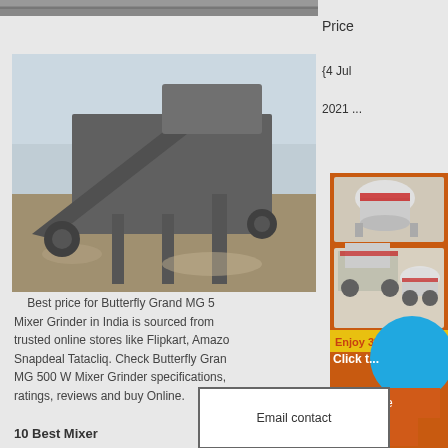[Figure (photo): Partial view of mining/construction machinery from above - top edge visible]
Price
{4 Jul

2021 ...
[Figure (photo): Large industrial quarry/mining crushing and conveying machinery setup outdoors]
Best price for Butterfly Grand MG 5 Mixer Grinder in India is sourced from trusted online stores like Flipkart, Amazon, Snapdeal Tatacliq. Check Butterfly Grand MG 500 W Mixer Grinder specifications, ratings, reviews and buy Online.
[Figure (photo): Right sidebar advertisement showing industrial crushing machines and blue circle graphic with orange background, Enjoy 3% text, Click to text]
More
Get Price
Email contact
Enquiry
limingjlmofen
@sina.com
10 Best Mixer
[Figure (photo): Bottom strip showing another machinery/industrial image]